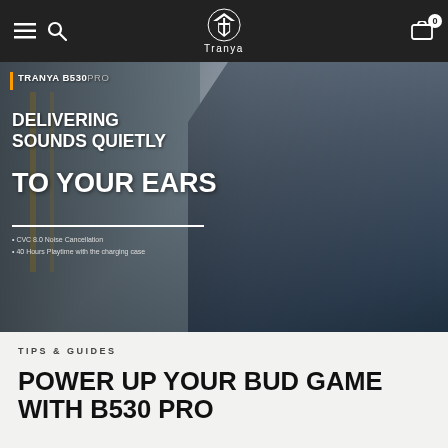Tranya - navigation bar with menu, search, logo, cart (0)
[Figure (photo): Hero banner image showing a man in a suit wearing wireless earbuds, looking at his phone on a train platform. Text overlay reads 'TRANYA B530 PRO – DELIVERING SOUNDS QUIETLY TO YOUR EARS' with bullet points: CVC 8.0 Noise Cancellation, 40 Hours Playtime with the charging case.]
TIPS & GUIDES
POWER UP YOUR BUD GAME WITH B530 PRO